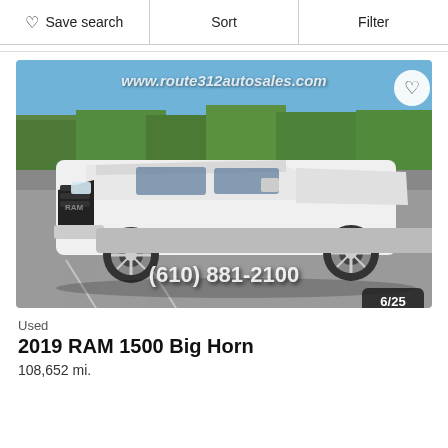Save search   Sort   Filter
[Figure (photo): White 2019 RAM 1500 Big Horn pickup truck parked in a lot, front 3/4 view. Website watermark www.route312autosales.com visible at top. Phone number (610) 881-2100 overlaid at bottom. Photo counter 6/25 in bottom right corner.]
Used
2019 RAM 1500 Big Horn
108,652 mi.